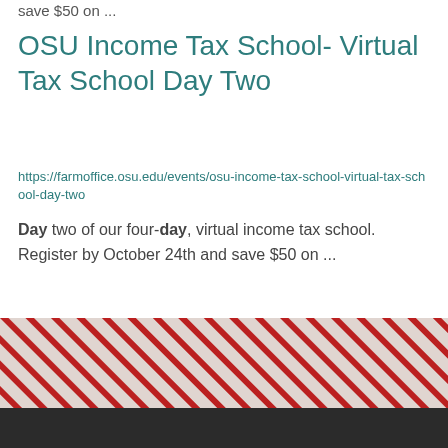save $50 on ...
OSU Income Tax School- Virtual Tax School Day Two
https://farmoffice.osu.edu/events/osu-income-tax-school-virtual-tax-school-day-two
Day two of our four-day, virtual income tax school. Register by October 24th and save $50 on ...
1 2 3 4 5 6 7 8 9 …next › last »
[Figure (illustration): Diagonal red and white striped decorative bar at the bottom of the page above a dark footer]